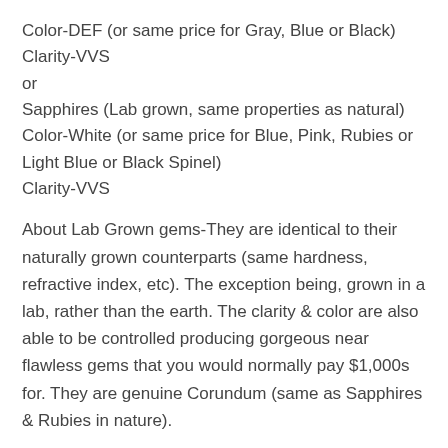Color-DEF (or same price for Gray, Blue or Black)
Clarity-VVS
or
Sapphires (Lab grown, same properties as natural)
Color-White (or same price for Blue, Pink, Rubies or Light Blue or Black Spinel)
Clarity-VVS
About Lab Grown gems-They are identical to their naturally grown counterparts (same hardness, refractive index, etc). The exception being, grown in a lab, rather than the earth. The clarity & color are also able to be controlled producing gorgeous near flawless gems that you would normally pay $1,000s for. They are genuine Corundum (same as Sapphires & Rubies in nature).
Includes